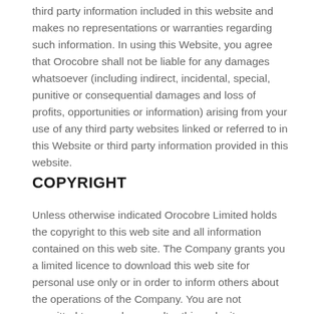third party information included in this website and makes no representations or warranties regarding such information. In using this Website, you agree that Orocobre shall not be liable for any damages whatsoever (including indirect, incidental, special, punitive or consequential damages and loss of profits, opportunities or information) arising from your use of any third party websites linked or referred to in this Website or third party information provided in this website.
COPYRIGHT
Unless otherwise indicated Orocobre Limited holds the copyright to this web site and all information contained on this web site. The Company grants you a limited licence to download this web site for personal use only or in order to inform others about the operations of the Company. You are not permitted to reproduce or alter this web site, or any copy of it, for any other purpose without the prior express